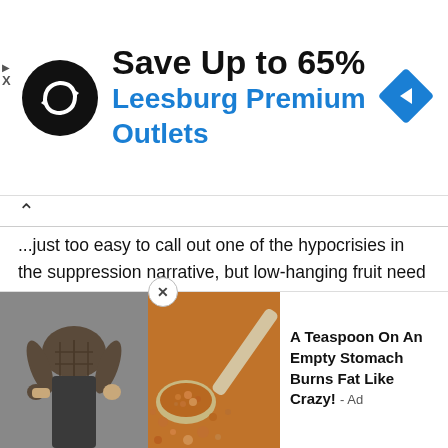[Figure (other): Advertisement banner: Save Up to 65% Leesburg Premium Outlets with logo and navigation arrow icon]
...just too easy to call out one of the hypocrisies in the suppression narrative, but low-hanging fruit need to be picked as well. As woke corporations topple over one another to be the most woke, they all seem to forget that identification in the private sector should be required, but when it comes to safeguards against voting fraud it's suddenly racist. Delta Airlines won't let people board a plane with ID. For that matter, the government (TSA) won't either. Amazon didn't want signature matches on absentee ballots in its union vote, but demanded wishy-washy standards for society-altering elections. The list goes on and on. Heck, some companies that
[Figure (other): Advertisement: A Teaspoon On An Empty Stomach Burns Fat Like Crazy! with images of a person and a spoonful of spice]